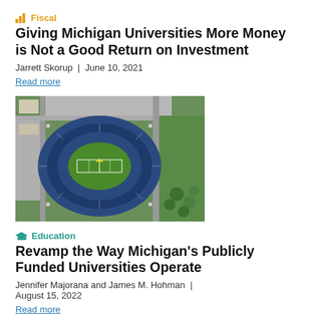[Figure (other): Orange/gold bar chart icon next to 'Fiscal' category label]
Fiscal
Giving Michigan Universities More Money is Not a Good Return on Investment
Jarrett Skorup  |  June 10, 2021
Read more
[Figure (photo): Aerial photograph of a large football stadium (University of Michigan Big House) showing the oval stadium, green field, surrounding parking lots and green areas.]
[Figure (other): Teal graduation cap icon next to 'Education' category label]
Education
Revamp the Way Michigan's Publicly Funded Universities Operate
Jennifer Majorana and James M. Hohman  |  August 15, 2022
Read more